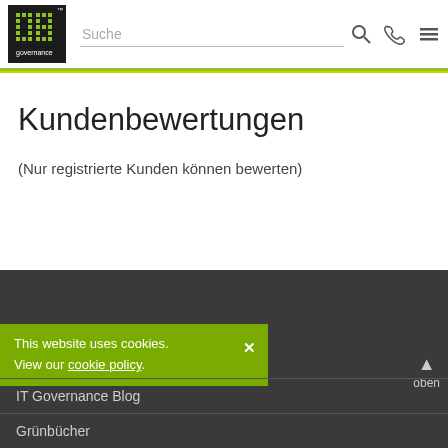[Figure (logo): IT Governance logo - dark square with dot-matrix IT text and 'governance' text below]
Suche
Kundenbewertungen
(Nur registrierte Kunden können bewerten)
This website uses cookies. View our cookie policy.
oben
IT Governance Blog
Grünbücher